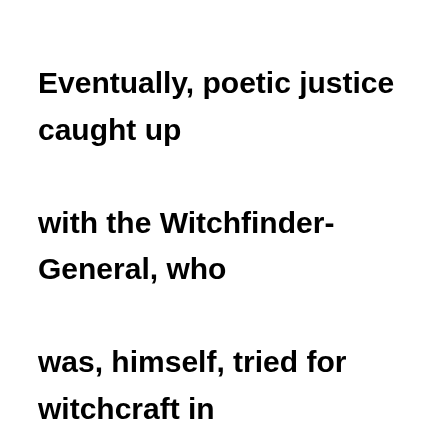Eventually, poetic justice caught up with the Witchfinder-General, who was, himself, tried for witchcraft in 1647 and hung. The placing of the county on a military footing was another cause of discontent. Soldiers were billeted on